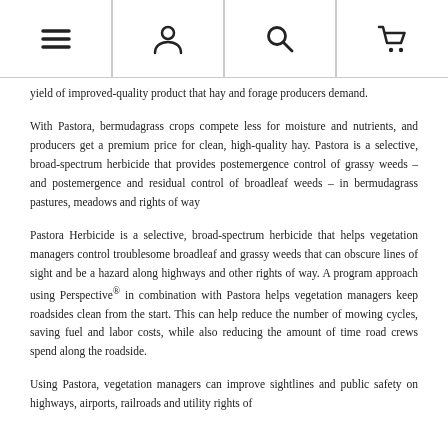[navigation icons: menu, user, search, cart]
yield of improved-quality product that hay and forage producers demand.
With Pastora, bermudagrass crops compete less for moisture and nutrients, and producers get a premium price for clean, high-quality hay. Pastora is a selective, broad-spectrum herbicide that provides postemergence control of grassy weeds – and postemergence and residual control of broadleaf weeds – in bermudagrass pastures, meadows and rights of way
Pastora Herbicide is a selective, broad-spectrum herbicide that helps vegetation managers control troublesome broadleaf and grassy weeds that can obscure lines of sight and be a hazard along highways and other rights of way. A program approach using Perspective® in combination with Pastora helps vegetation managers keep roadsides clean from the start. This can help reduce the number of mowing cycles, saving fuel and labor costs, while also reducing the amount of time road crews spend along the roadside.
Using Pastora, vegetation managers can improve sightlines and public safety on highways, airports, railroads and utility rights of